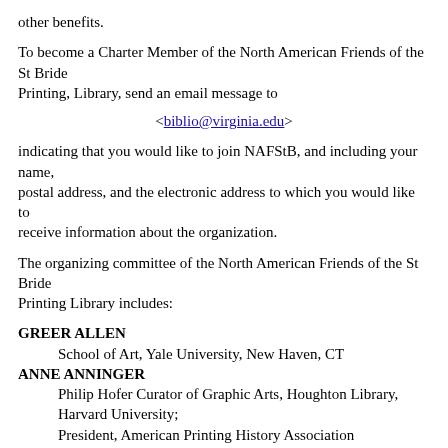other benefits.
To become a Charter Member of the North American Friends of the St Bride
Printing, Library, send an email message to
<biblio@virginia.edu>
indicating that you would like to join NAFStB, and including your name,
postal address, and the electronic address to which you would like to
receive information about the organization.
The organizing committee of the North American Friends of the St Bride
Printing Library includes:
GREER ALLEN
    School of Art, Yale University, New Haven, CT
ANNE ANNINGER
    Philip Hofer Curator of Graphic Arts, Houghton Library, Harvard University;
    President, American Printing History Association
WILLIAM P. BARLOW, Jr
    Barlow & Hughes, Oakland, CA